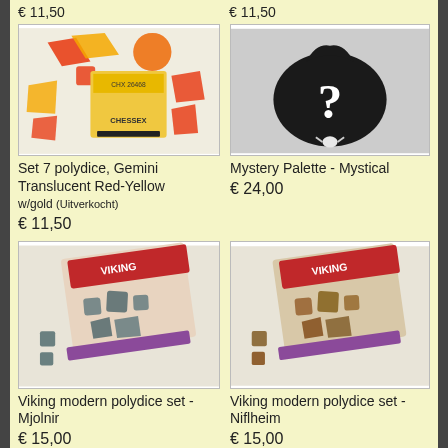€ 11,50
€ 11,50
[Figure (photo): Set of 7 polyhedral dice, Gemini Translucent Red-Yellow with gold, Chessex brand, CHX 26468]
[Figure (photo): Black mystery bag with white question mark - Mystery Palette Mystical]
Set 7 polydice, Gemini Translucent Red-Yellow
w/gold (Uitverkocht)
€ 11,50
Mystery Palette - Mystical
€ 24,00
[Figure (photo): Viking modern polydice set - Mjolnir, grey-blue dice in Viking themed packaging]
[Figure (photo): Viking modern polydice set - Niflheim, brown/copper dice in Viking themed packaging]
Viking modern polydice set - Mjolnir
€ 15,00
Viking modern polydice set - Niflheim
€ 15,00